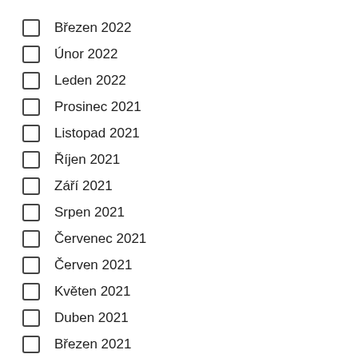Březen 2022
Únor 2022
Leden 2022
Prosinec 2021
Listopad 2021
Říjen 2021
Září 2021
Srpen 2021
Červenec 2021
Červen 2021
Květen 2021
Duben 2021
Březen 2021